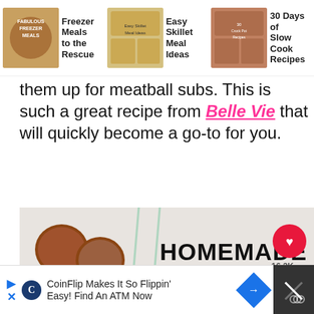Freezer Meals to the Rescue | Easy Skillet Meal Ideas | 30 Days of Slow Cook Recipes
them up for meatball subs. This is such a great recipe from Belle Vie that will quickly become a go-to for you.
[Figure (photo): Photo of homemade frozen meatballs in a zip-lock bag labeled 'Meatballs 8/23/11' with text overlay reading HOMEMADE FROZEN MEATBALLS, and social media interaction icons (heart, share, search).]
CoinFlip Makes It So Flippin' Easy! Find An ATM Now